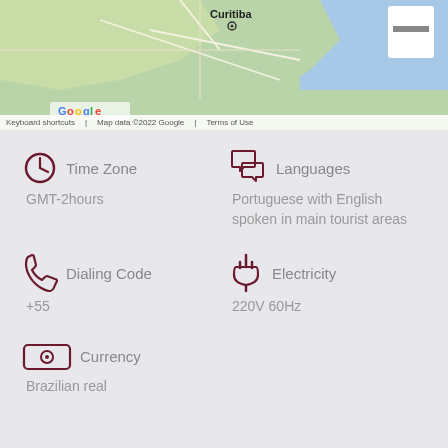[Figure (map): Google Maps screenshot showing Curitiba, Brazil region with terrain view]
Keyboard shortcuts | Map data ©2022 Google | Terms of Use
Time Zone
GMT-2hours
Languages
Portuguese with English spoken in main tourist areas
Dialing Code
+55
Electricity
220V 60Hz
Currency
Brazilian real